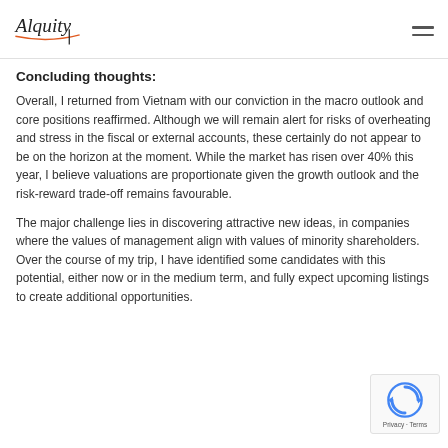Alquity [logo]
Concluding thoughts:
Overall, I returned from Vietnam with our conviction in the macro outlook and core positions reaffirmed. Although we will remain alert for risks of overheating and stress in the fiscal or external accounts, these certainly do not appear to be on the horizon at the moment. While the market has risen over 40% this year, I believe valuations are proportionate given the growth outlook and the risk-reward trade-off remains favourable.
The major challenge lies in discovering attractive new ideas, in companies where the values of management align with values of minority shareholders. Over the course of my trip, I have identified some candidates with this potential, either now or in the medium term, and fully expect upcoming listings to create additional opportunities.